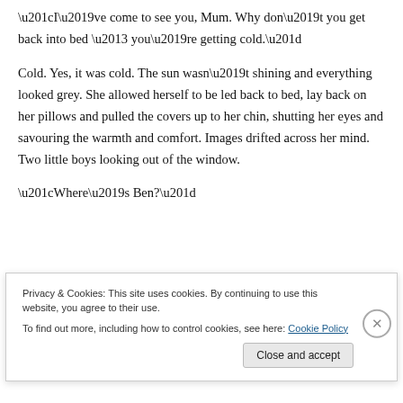“I’ve come to see you, Mum. Why don’t you get back into bed – you’re getting cold.”
Cold. Yes, it was cold. The sun wasn’t shining and everything looked grey. She allowed herself to be led back to bed, lay back on her pillows and pulled the covers up to her chin, shutting her eyes and savouring the warmth and comfort. Images drifted across her mind. Two little boys looking out of the window.
“Where’s Ben?”
Privacy & Cookies: This site uses cookies. By continuing to use this website, you agree to their use.
To find out more, including how to control cookies, see here: Cookie Policy